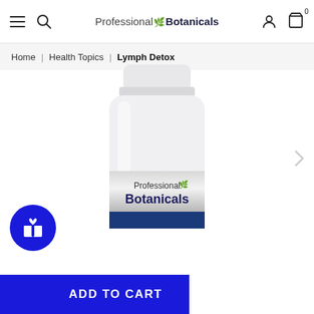Professional Botanicals — navigation header with hamburger, search, logo, user account, and cart icons
Home | Health Topics | Lymph Detox
[Figure (photo): White supplement bottle with Professional Botanicals logo on silver and blue label, white cap, on white background]
ADD TO CART